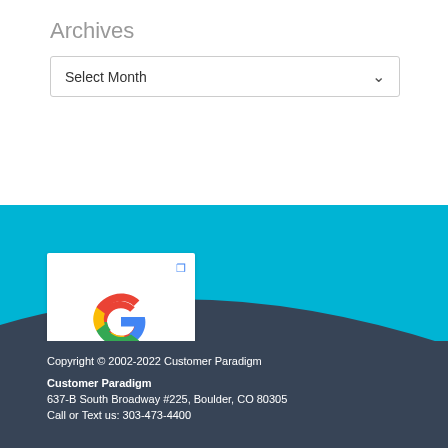Archives
Select Month
[Figure (logo): Google Partner badge with Google G logo and text 'Google Partner']
Copyright © 2002-2022 Customer Paradigm
Customer Paradigm
637-B South Broadway #225, Boulder, CO 80305
Call or Text us: 303-473-4400